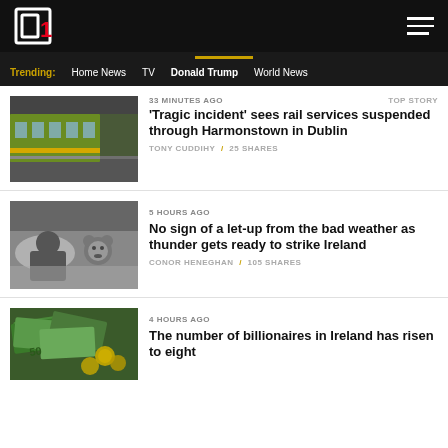TheJournal.ie — Header with logo and hamburger menu
Trending: Home News  TV  Donald Trump  World News
[Figure (photo): A green DART train at a station platform in Dublin]
33 MINUTES AGO   TOP STORY
'Tragic incident' sees rail services suspended through Harmonstown in Dublin
TONY CUDDIHY / 25 SHARES
[Figure (photo): Black and white photo of a man lying in bed next to a teddy bear (Ted movie still)]
5 HOURS AGO
No sign of a let-up from the bad weather as thunder gets ready to strike Ireland
CONOR HENEGHAN / 105 SHARES
[Figure (photo): Euro banknotes and coins spread out on a surface]
4 HOURS AGO
The number of billionaires in Ireland has risen to eight